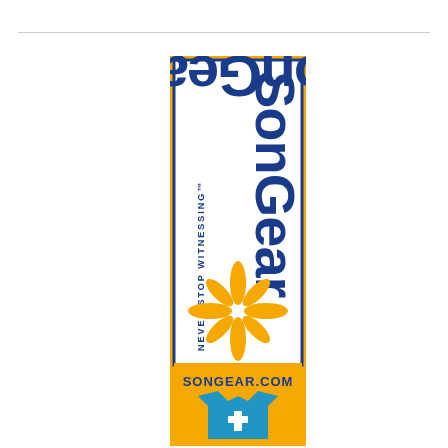[Figure (illustration): SonGear advertisement banner. Vertical banner with gold outer border and dark blue inner border. White background with 'SonGear' text written vertically in large dark blue casual font. 'NEVER STOP WITNESSING™' written vertically in smaller blue text. A gold asterisk/star burst symbol at the bottom of the white panel. Below the white panel, 'SONGEAR.COM' in blue text on gold background. Below that, a blue t-shirt with a cross emblem.]